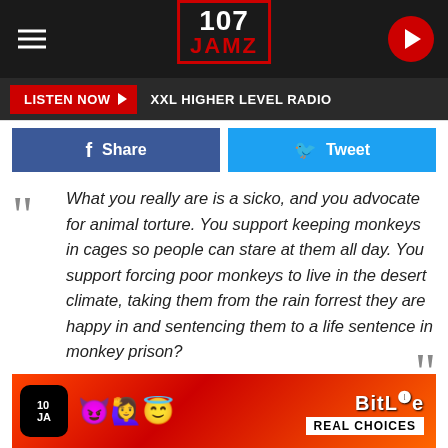[Figure (logo): 107 JAMZ radio station logo with red border, hamburger menu on left, play button on right, dark background header bar]
LISTEN NOW ▶  XXL HIGHER LEVEL RADIO
f Share
Tweet
What you really are is a sicko, and you advocate for animal torture. You support keeping monkeys in cages so people can stare at them all day. You support forcing poor monkeys to live in the desert climate, taking them from the rain forrest they are happy in and sentencing them to a life sentence in monkey prison?
[Figure (infographic): BitLife app advertisement banner with emojis and REAL CHOICES text]